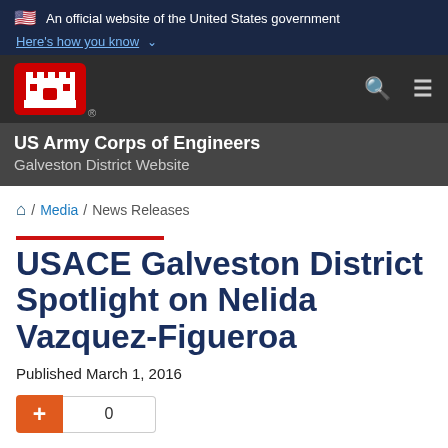An official website of the United States government
Here's how you know
[Figure (logo): US Army Corps of Engineers castle logo on red background, navigation bar with search and menu icons]
US Army Corps of Engineers
Galveston District Website
Home / Media / News Releases
USACE Galveston District Spotlight on Nelida Vazquez-Figueroa
Published March 1, 2016
+ 0